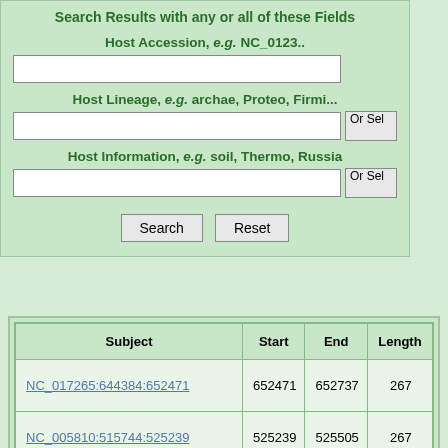Search Results with any or all of these Fields
Host Accession, e.g. NC_0123..
Host Lineage, e.g. archae, Proteo, Firmi...
Host Information, e.g. soil, Thermo, Russia
| Subject | Start | End | Length |
| --- | --- | --- | --- |
| NC_017265:644384:652471 | 652471 | 652737 | 267 |
| NC_005810:515744:525239 | 525239 | 525505 | 267 |